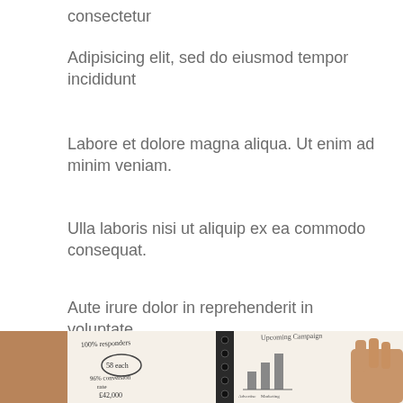consectetur
Adipisicing elit, sed do eiusmod tempor incididunt
Labore et dolore magna aliqua. Ut enim ad minim veniam.
Ulla laboris nisi ut aliquip ex ea commodo consequat.
Aute irure dolor in reprehenderit in voluptate
[Figure (photo): Open notebook/planner with handwritten notes including '100% responders', '58 each', '96% conversion rate', '£42,000', and a hand-drawn bar chart labeled 'Upcoming Campaign', with a hand visible on the right side]